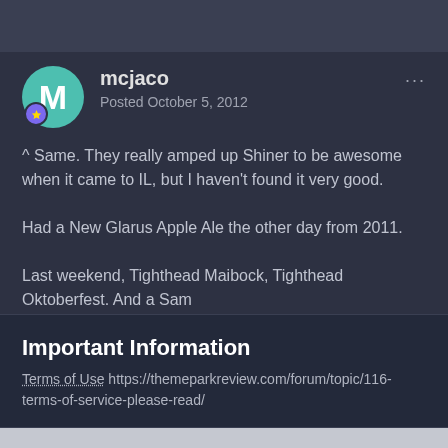mcjaco
Posted October 5, 2012
^ Same. They really amped up Shiner to be awesome when it came to IL, but I haven't found it very good.
Had a New Glarus Apple Ale the other day from 2011.
Last weekend, Tighthead Maibock, Tighthead Oktoberfest. And a Sam
Important Information
Terms of Use https://themeparkreview.com/forum/topic/116-terms-of-service-please-read/
✔ I accept